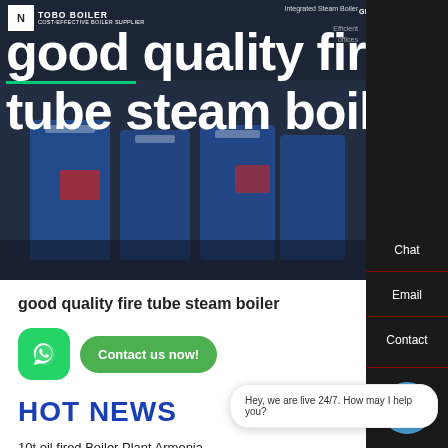[Figure (screenshot): Hero banner of TOBO Boiler website showing industrial fire tube steam boilers in blue/dark background with large white text overlay]
good quality fire tube steam boiler
[Figure (logo): WhatsApp green button icon]
Contact us now!
HOT NEWS
10t oil fired Boiler Plant Armenia
Hey, we are live 24/7. How may I help you?